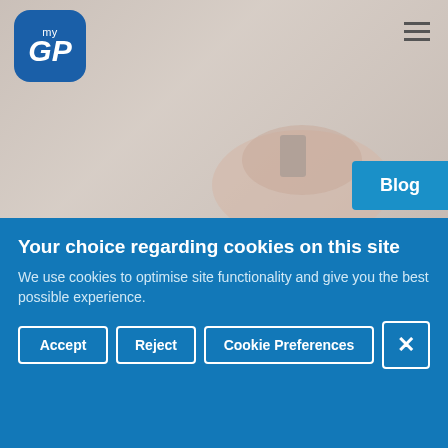[Figure (logo): myGP app logo - blue rounded square with white 'my' text above bold italic 'GP' text]
[Figure (photo): Woman looking at smartphone, sitting at a table, blurred background, muted warm tones]
Blog
Your choice regarding cookies on this site
We use cookies to optimise site functionality and give you the best possible experience.
Accept
Reject
Cookie Preferences